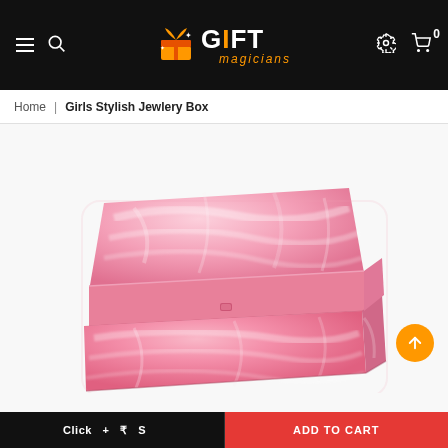Gift Magicians navigation bar with hamburger menu, search, logo, gear icon, and cart
Home | Girls Stylish Jewlery Box
[Figure (photo): A pink jewlery/gift box with a floral or marbled pink fabric exterior, rectangular shape with rounded corners, shown slightly from above at an angle. The box sits on a white background.]
ADD TO CART